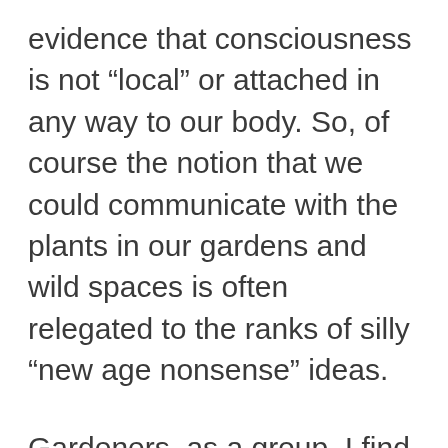evidence that consciousness is not “local” or attached in any way to our body. So, of course the notion that we could communicate with the plants in our gardens and wild spaces is often relegated to the ranks of silly “new age nonsense” ideas.
Gardeners, as a group, I find, are more tuned in to the consciousness